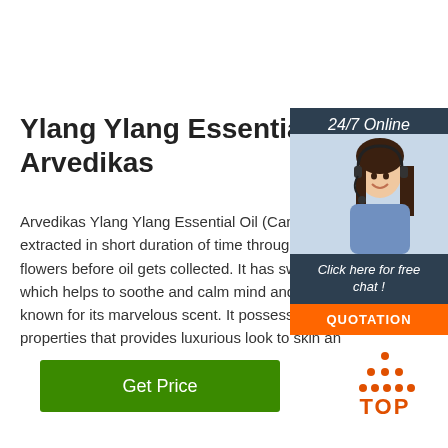Ylang Ylang Essential Oil - Arvedikas
Arvedikas Ylang Ylang Essential Oil (Cananga o... extracted in short duration of time through steam... flowers before oil gets collected. It has sweet flo... which helps to soothe and calm mind and body. ... known for its marvelous scent. It possesses nou... properties that provides luxurious look to skin an...
[Figure (other): Sidebar widget with '24/7 Online' header, photo of woman with headset, 'Click here for free chat!' text, and orange QUOTATION button]
[Figure (other): Get Price green button]
[Figure (logo): TOP icon with orange triangle dots and orange text 'TOP']